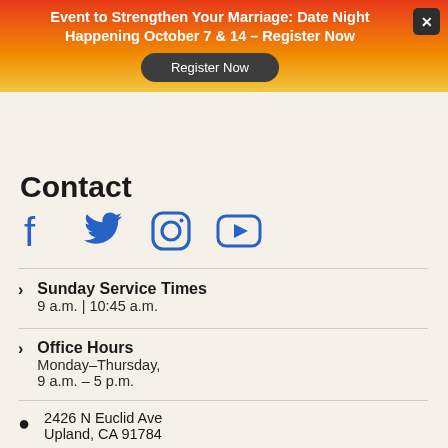Event to Strengthen Your Marriage: Date Night Happening October 7 & 14 – Register Now
Contact
[Figure (infographic): Social media icons: Facebook, Twitter, Instagram, YouTube - all in blue]
Sunday Service Times – 9 a.m. | 10:45 a.m.
Office Hours – Monday–Thursday, 9 a.m. – 5 p.m.
2426 N Euclid Ave
Upland, CA 91784
(909) 981-4848